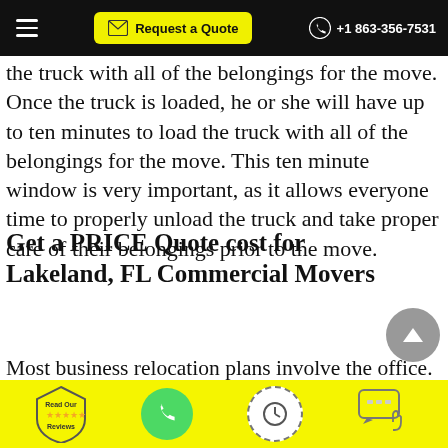Request a Quote  +1 863-356-7531
the truck with all of the belongings for the move. Once the truck is loaded, he or she will have up to ten minutes to load the truck with all of the belongings for the move. This ten minute window is very important, as it allows everyone time to properly unload the truck and take proper care of their belongings prior to the move.
Get a PRICE Quote cost for Lakeland, FL Commercial Movers
Most business relocation plans involve the office. The employees will receive new office space (or an existing
Read Our Reviews  [phone icon]  [clock icon]  [chat icon]